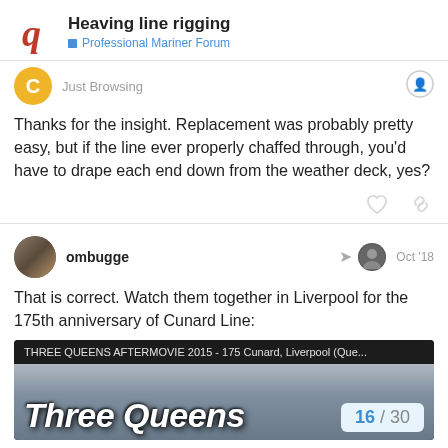Heaving line rigging — Professional Mariner Forum
Just Browsing
Thanks for the insight. Replacement was probably pretty easy, but if the line ever properly chaffed through, you'd have to drape each end down from the weather deck, yes?
ombugge  Oct '18
That is correct. Watch them together in Liverpool for the 175th anniversary of Cunard Line:
[Figure (screenshot): Video embed preview titled 'THREE QUEENS AFTERMOVIE 2015 - 175 Cunard, Liverpool (Que...' with large italic 'Three Queens' text overlay on a grey background, and a page counter showing 16/30.]